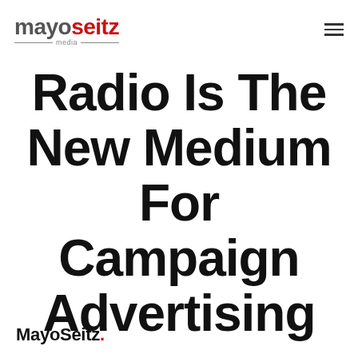mayoseitz media
Radio Is The New Medium For Campaign Advertising
MayoSeitz.